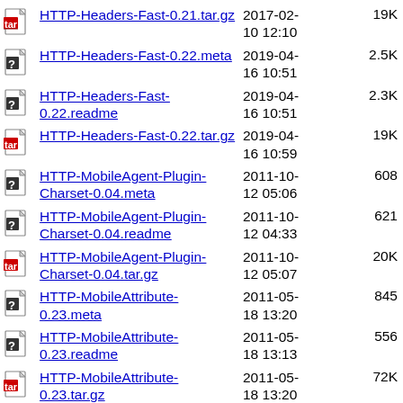HTTP-Headers-Fast-0.21.tar.gz  2017-02-10 12:10  19K
HTTP-Headers-Fast-0.22.meta  2019-04-16 10:51  2.5K
HTTP-Headers-Fast-0.22.readme  2019-04-16 10:51  2.3K
HTTP-Headers-Fast-0.22.tar.gz  2019-04-16 10:59  19K
HTTP-MobileAgent-Plugin-Charset-0.04.meta  2011-10-12 05:06  608
HTTP-MobileAgent-Plugin-Charset-0.04.readme  2011-10-12 04:33  621
HTTP-MobileAgent-Plugin-Charset-0.04.tar.gz  2011-10-12 05:07  20K
HTTP-MobileAttribute-0.23.meta  2011-05-18 13:20  845
HTTP-MobileAttribute-0.23.readme  2011-05-18 13:13  556
HTTP-MobileAttribute-0.23.tar.gz  2011-05-18 13:20  72K
HTTP-Session-0.48.meta  2013-01-07 14:27  842